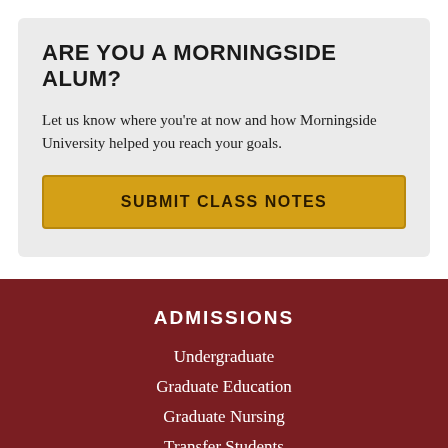ARE YOU A MORNINGSIDE ALUM?
Let us know where you're at now and how Morningside University helped you reach your goals.
SUBMIT CLASS NOTES
ADMISSIONS
Undergraduate
Graduate Education
Graduate Nursing
Transfer Students